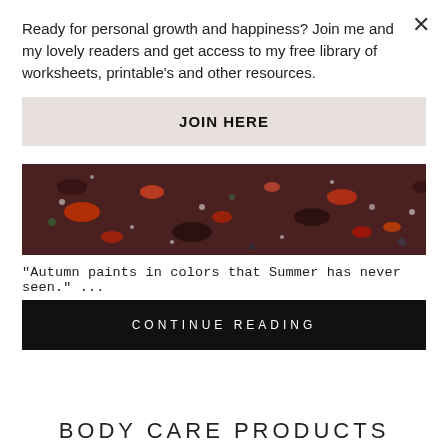Ready for personal growth and happiness? Join me and my lovely readers and get access to my free library of worksheets, printable's and other resources.
JOIN HERE
[Figure (photo): Close-up photo of dark red and black crushed mineral or volcanic rock with colorful fragments, autumn-themed image]
"Autumn paints in colors that Summer has never seen." ...
CONTINUE READING
BODY CARE PRODUCTS